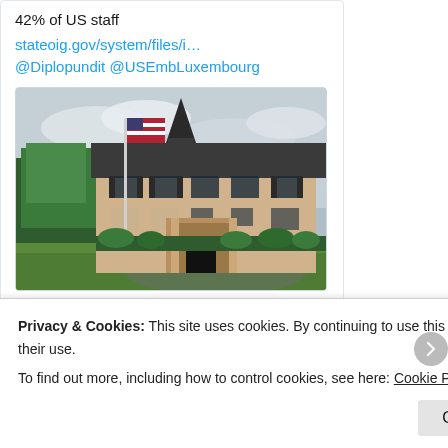42% of US staff
stateoig.gov/system/files/i… @Diplopundit @USEmbLuxembourg
[Figure (photo): Photo of US Embassy building in Luxembourg, a grand stone mansion with dark slate roof and spire, American flag on a flagpole to the left, surrounded by green trees and lawn, overcast sky.]
1  1
Diplopundit 💙💛
Privacy & Cookies: This site uses cookies. By continuing to use this website, you agree to their use.
To find out more, including how to control cookies, see here: Cookie Policy
Close and accept